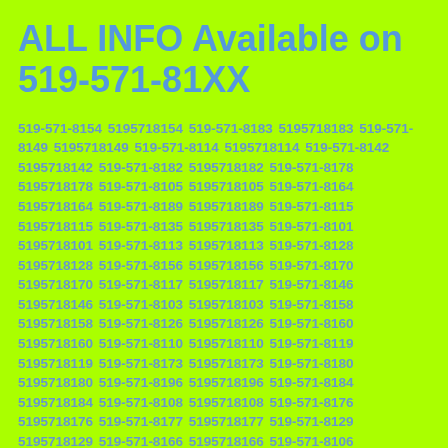ALL INFO Available on 519-571-81XX
519-571-8154 5195718154 519-571-8183 5195718183 519-571-8149 5195718149 519-571-8114 5195718114 519-571-8142 5195718142 519-571-8182 5195718182 519-571-8178 5195718178 519-571-8105 5195718105 519-571-8164 5195718164 519-571-8189 5195718189 519-571-8115 5195718115 519-571-8135 5195718135 519-571-8101 5195718101 519-571-8113 5195718113 519-571-8128 5195718128 519-571-8156 5195718156 519-571-8170 5195718170 519-571-8117 5195718117 519-571-8146 5195718146 519-571-8103 5195718103 519-571-8158 5195718158 519-571-8126 5195718126 519-571-8160 5195718160 519-571-8110 5195718110 519-571-8119 5195718119 519-571-8173 5195718173 519-571-8180 5195718180 519-571-8196 5195718196 519-571-8184 5195718184 519-571-8108 5195718108 519-571-8176 5195718176 519-571-8177 5195718177 519-571-8129 5195718129 519-571-8166 5195718166 519-571-8106 5195718106 519-571-8120 5195718120 519-571-8123 5195718123